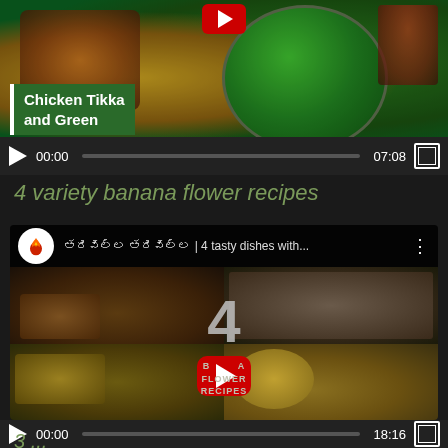[Figure (screenshot): Video player showing Chicken Tikka and Green recipe thumbnail with food images and green chutney bowl. Controls show 00:00 / 07:08]
4 variety banana flower recipes
[Figure (screenshot): YouTube embedded video player showing banana flower recipes with channel icon (flame logo), title in Tamil script followed by '| 4 tasty dishes with...', grid of 4 food images, large '4' overlay, YouTube play button, and 'BANANA FLOWER RECIPES' text. Controls show 00:00 / 18:16]
3 ...